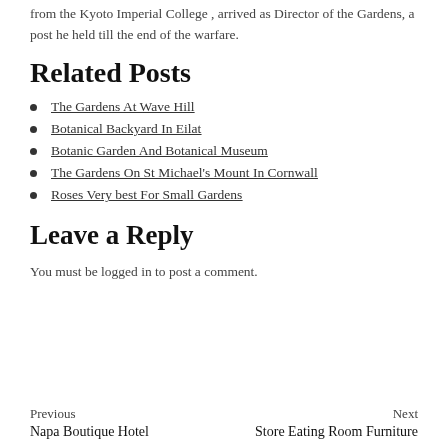from the Kyoto Imperial College , arrived as Director of the Gardens, a post he held till the end of the warfare.
Related Posts
The Gardens At Wave Hill
Botanical Backyard In Eilat
Botanic Garden And Botanical Museum
The Gardens On St Michael's Mount In Cornwall
Roses Very best For Small Gardens
Leave a Reply
You must be logged in to post a comment.
Previous | Napa Boutique Hotel    Next | Store Eating Room Furniture